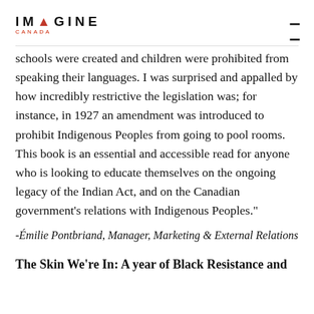IMAGINE CANADA
schools were created and children were prohibited from speaking their languages. I was surprised and appalled by how incredibly restrictive the legislation was; for instance, in 1927 an amendment was introduced to prohibit Indigenous Peoples from going to pool rooms. This book is an essential and accessible read for anyone who is looking to educate themselves on the ongoing legacy of the Indian Act, and on the Canadian government’s relations with Indigenous Peoples.”
-Émilie Pontbriand, Manager, Marketing & External Relations
The Skin We’re In: A year of Black Resistance and